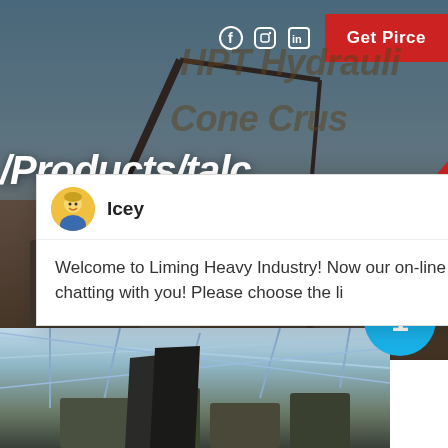[Figure (photo): Industrial mining/crushing machinery site with cranes and heavy equipment, hero banner background]
Get Pirce
HPT Hydraulic Cone Crusher
/Products/talc
EFFICIENCY INCREA
[Figure (screenshot): Live chat widget popup with avatar of agent named Icey, showing welcome message: Welcome to Liming Heavy Industry! Now our on-line service is chatting with you! Please choose the li]
Icey
Welcome to Liming Heavy Industry! Now our on-line service is chatting with you! Please choose the li
[Figure (photo): Industrial machinery interior with steel framework and heavy equipment, bottom portion of page]